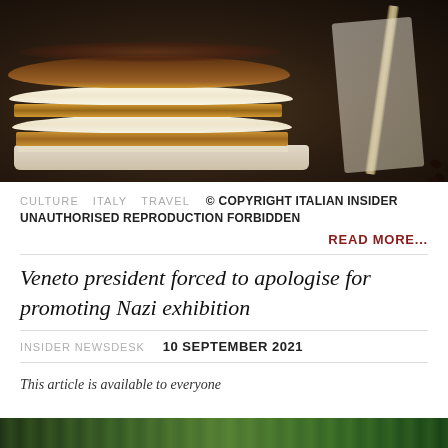[Figure (photo): A tiramisu dessert on a white plate with coffee beans and a fork, on a dark background]
CULTURE   ITALY   TRAVEL   © COPYRIGHT ITALIAN INSIDER UNAUTHORISED REPRODUCTION FORBIDDEN
READ MORE...
Veneto president forced to apologise for promoting Nazi exhibition
INSIDER NEWSDESK   10 SEPTEMBER 2021
This article is available to everyone
[Figure (photo): Partial bottom image strip showing greenery/outdoor scene]